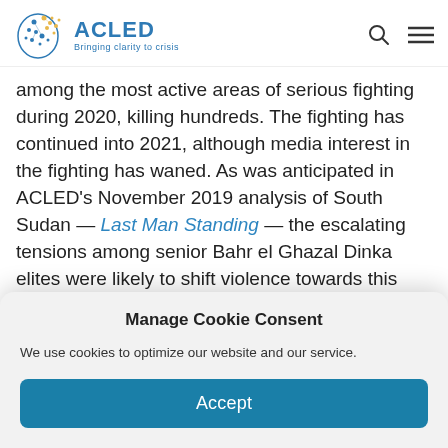ACLED – Bringing clarity to crisis
among the most active areas of serious fighting during 2020, killing hundreds. The fighting has continued into 2021, although media interest in the fighting has waned. As was anticipated in ACLED's November 2019 analysis of South Sudan — Last Man Standing — the escalating tensions among senior Bahr el Ghazal Dinka elites were likely to shift violence towards this area. Much like in Jonglei state (the final
Manage Cookie Consent

We use cookies to optimize our website and our service.

Accept